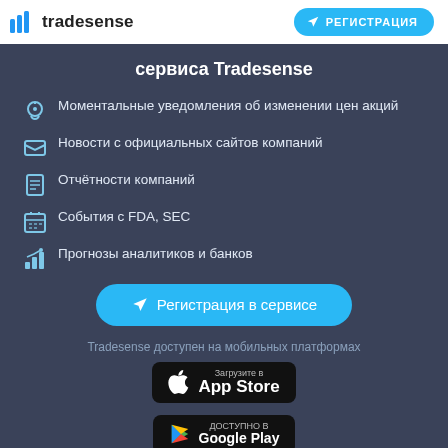tradesense | РЕГИСТРАЦИЯ
сервиса Tradesense
Моментальные уведомления об изменении цен акций
Новости с официальных сайтов компаний
Отчётности компаний
События с FDA, SEC
Прогнозы аналитиков и банков
Регистрация в сервисе
Tradesense доступен на мобильных платформах
[Figure (logo): App Store download button]
[Figure (logo): Google Play download button - ДОСТУПНО В]